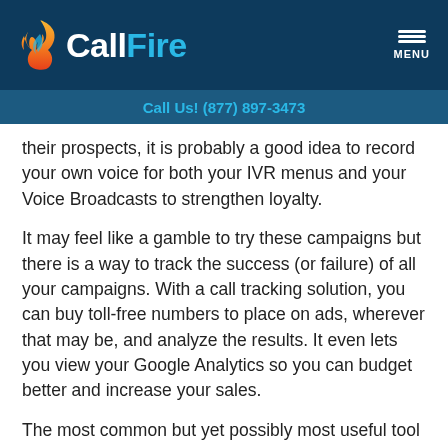CallFire — Call Us! (877) 897-3473
their prospects, it is probably a good idea to record your own voice for both your IVR menus and your Voice Broadcasts to strengthen loyalty.
It may feel like a gamble to try these campaigns but there is a way to track the success (or failure) of all your campaigns. With a call tracking solution, you can buy toll-free numbers to place on ads, wherever that may be, and analyze the results. It even lets you view your Google Analytics so you can budget better and increase your sales.
The most common but yet possibly most useful tool for realtors is an autodialer. When realtors manually dial lead after lead it can become inefficient and exhausting. Rather than spending time with a mundane task, a system like the